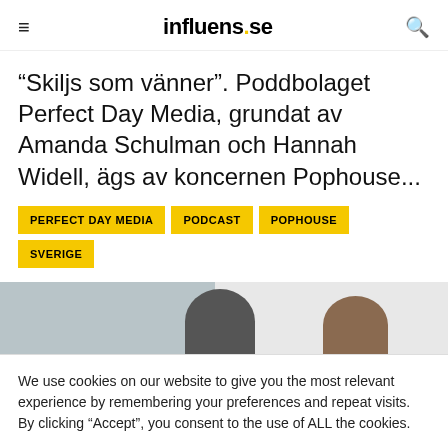influens.se
“Skiljs som vänner”. Poddbolaget Perfect Day Media, grundat av Amanda Schulman och Hannah Widell, ägs av koncernen Pophouse...
PERFECT DAY MEDIA
PODCAST
POPHOUSE
SVERIGE
[Figure (photo): Two people partially visible, photo strip showing two individuals from the shoulders up against a split grey/light background]
We use cookies on our website to give you the most relevant experience by remembering your preferences and repeat visits. By clicking “Accept”, you consent to the use of ALL the cookies.
Cookie settings  ACCEPT